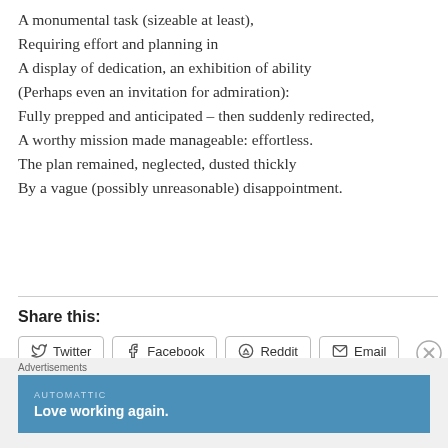A monumental task (sizeable at least),
Requiring effort and planning in
A display of dedication, an exhibition of ability
(Perhaps even an invitation for admiration):
Fully prepped and anticipated – then suddenly redirected,
A worthy mission made manageable: effortless.
The plan remained, neglected, dusted thickly
By a vague (possibly unreasonable) disappointment.
Share this:
[Figure (other): Social sharing buttons: Twitter, Facebook, Reddit, Email]
[Figure (other): Advertisement banner: Automattic – Love working again.]